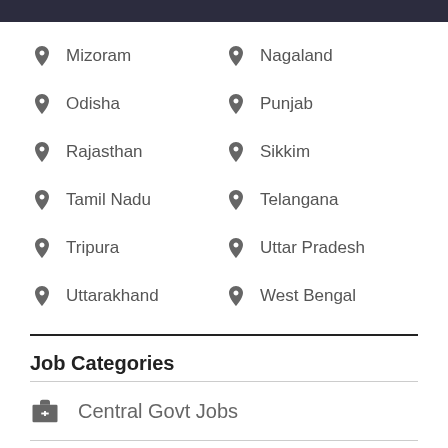Mizoram
Nagaland
Odisha
Punjab
Rajasthan
Sikkim
Tamil Nadu
Telangana
Tripura
Uttar Pradesh
Uttarakhand
West Bengal
Job Categories
Central Govt Jobs
State Govt Jobs